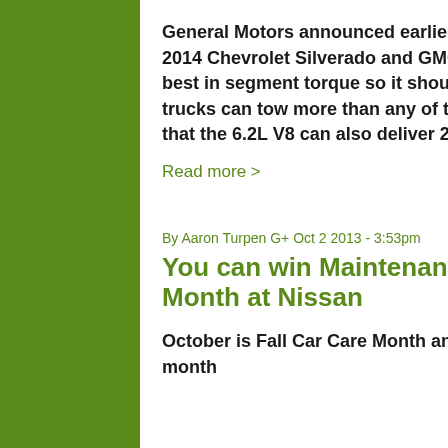General Motors announced earlier that the new 6.2L V8 powering the top of the line 2014 Chevrolet Silverado and GMC Sierra will offer best in class horsepower and best in segment torque so it should come as no surprise that these new half ton trucks can tow more than any of the competition – but what is impressive is that fact that the 6.2L V8 can also deliver 21 miles per gallon.
Read more >
By Aaron Turpen G+ Oct 2 2013 - 3:53pm
You can win Maintenance for Life during October Car Care Month at Nissan
October is Fall Car Care Month and Nissan is celebrating this unique auto-themed month